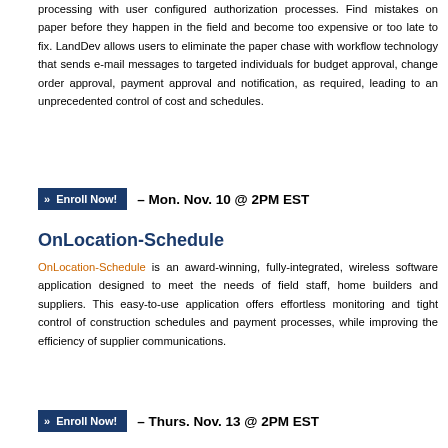processing with user configured authorization processes. Find mistakes on paper before they happen in the field and become too expensive or too late to fix. LandDev allows users to eliminate the paper chase with workflow technology that sends e-mail messages to targeted individuals for budget approval, change order approval, payment approval and notification, as required, leading to an unprecedented control of cost and schedules.
[Figure (other): Enroll Now! button with arrow icon – Mon. Nov. 10 @ 2PM EST]
OnLocation-Schedule
OnLocation-Schedule is an award-winning, fully-integrated, wireless software application designed to meet the needs of field staff, home builders and suppliers. This easy-to-use application offers effortless monitoring and tight control of construction schedules and payment processes, while improving the efficiency of supplier communications.
[Figure (other): Enroll Now! button with arrow icon – Thurs. Nov. 13 @ 2PM EST]